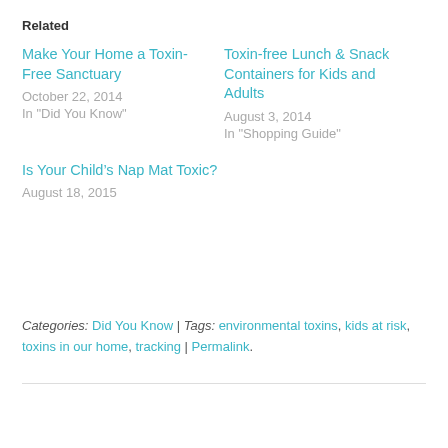Related
Make Your Home a Toxin-Free Sanctuary
October 22, 2014
In "Did You Know"
Toxin-free Lunch & Snack Containers for Kids and Adults
August 3, 2014
In "Shopping Guide"
Is Your Child’s Nap Mat Toxic?
August 18, 2015
Categories: Did You Know | Tags: environmental toxins, kids at risk, toxins in our home, tracking | Permalink.